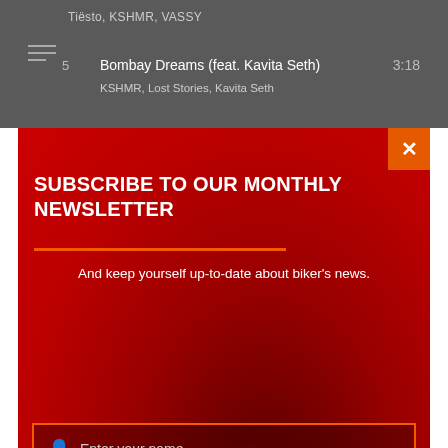[Figure (screenshot): Music player list showing tracks including 'Tiësto, KSHMR, VASSY' and track 5 'Bombay Dreams (feat. Kavita Seth)' by KSHMR, Lost Stories, Kavita Seth with time 3:18]
SUBSCRIBE TO OUR MONTHLY NEWSLETTER
And keep yourself up-to-date about biker's news.
[Figure (illustration): Red-tinted motorcycle image used as background for newsletter popup]
Enter your name...
Enter your e-mail...
SUBSCRIBE NOW!
[Figure (screenshot): Advertisement for HC auto service in Ashburn showing OPEN 8AM-8PM and address 44110 Ashburn Shopping Plaza 1. with navigation arrow icon]